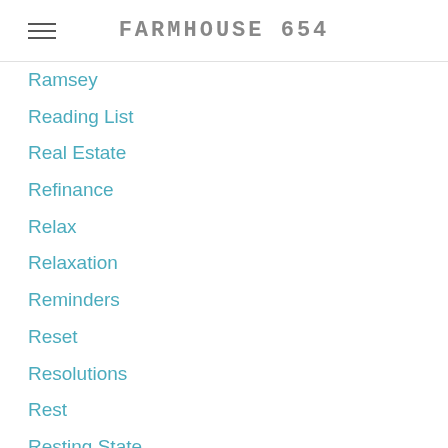FARMHOUSE 654
Ramsey
Reading List
Real Estate
Refinance
Relax
Relaxation
Reminders
Reset
Resolutions
Rest
Resting State
Road Trip
Role Model
Room Reveal
Routine
Routines
Running
Savings